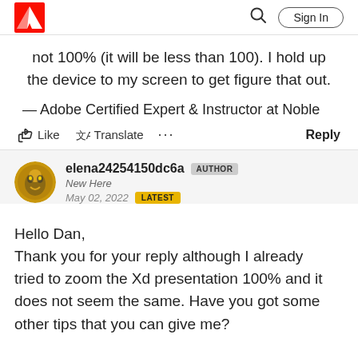Adobe logo | Search | Sign In
not 100% (it will be less than 100). I hold up the device to my screen to get figure that out.
— Adobe Certified Expert & Instructor at Noble
Like  Translate  ...  Reply
elena24254150dc6a  AUTHOR
New Here
May 02, 2022  LATEST
Hello Dan,
Thank you for your reply although I already tried to zoom the Xd presentation 100% and it does not seem the same. Have you got some other tips that you can give me?